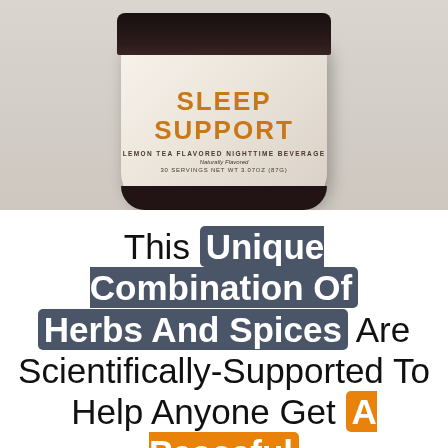[Figure (photo): Product photo of a Sleep Support supplement jar — white/cream colored container with dark lid, showing 'SLEEP SUPPORT' in orange text, 'Lemon Tea Flavored Nighttime Beverage', 'Naturally Flavored', '30 Servings Net Wt 3.07oz (87g)']
This Unique Combination Of Herbs And Spices Are Scientifically-Supported To Help Anyone Get A Peaceful Night's Sleep Regardless